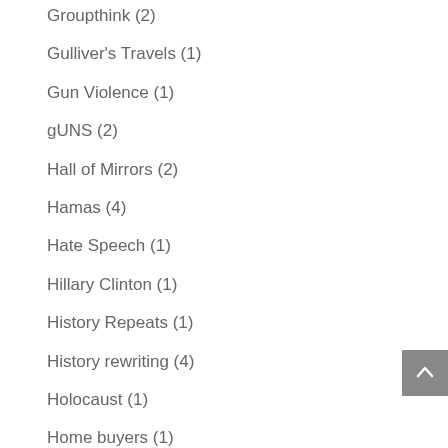Groupthink (2)
Gulliver's Travels (1)
Gun Violence (1)
gUNS (2)
Hall of Mirrors (2)
Hamas (4)
Hate Speech (1)
Hillary Clinton (1)
History Repeats (1)
History rewriting (4)
Holocaust (1)
Home buyers (1)